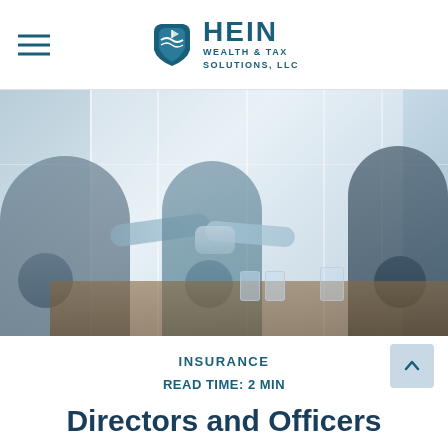HEIN WEALTH & TAX SOLUTIONS, LLC
[Figure (photo): Three business professionals in an office meeting room: two people shaking hands across a conference table while a third person stands and observes. The setting has large windows and a blue-tinted color cast.]
INSURANCE
READ TIME: 2 MIN
Directors and Officers